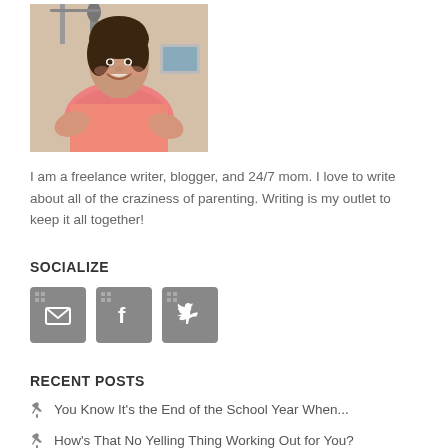[Figure (photo): Photo of a woman smiling, wearing a pink/coral striped top, seated, with microphone equipment visible in background]
I am a freelance writer, blogger, and 24/7 mom. I love to write about all of the craziness of parenting. Writing is my outlet to keep it all together!
SOCIALIZE
[Figure (infographic): Three gray social media icon buttons: email/envelope, Facebook (f), and Twitter (bird)]
RECENT POSTS
You Know It's the End of the School Year When...
How's That No Yelling Thing Working Out for You?
Winning the Technology Battle